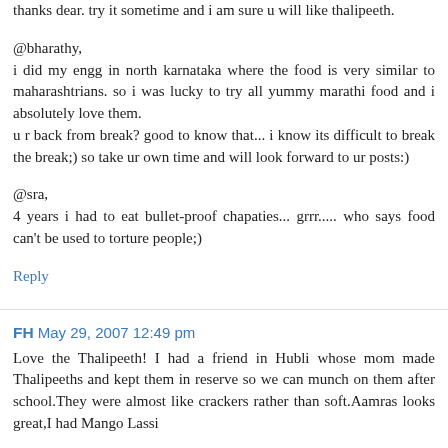thanks dear. try it sometime and i am sure u will like thalipeeth.
@bharathy,
i did my engg in north karnataka where the food is very similar to maharashtrians. so i was lucky to try all yummy marathi food and i absolutely love them.
u r back from break? good to know that... i know its difficult to break the break;) so take ur own time and will look forward to ur posts:)
@sra,
4 years i had to eat bullet-proof chapaties... grrr..... who says food can't be used to torture people;)
Reply
FH  May 29, 2007 12:49 pm
Love the Thalipeeth! I had a friend in Hubli whose mom made Thalipeeths and kept them in reserve so we can munch on them after school.They were almost like crackers rather than soft.Aamras looks great,I had Mango Lassi